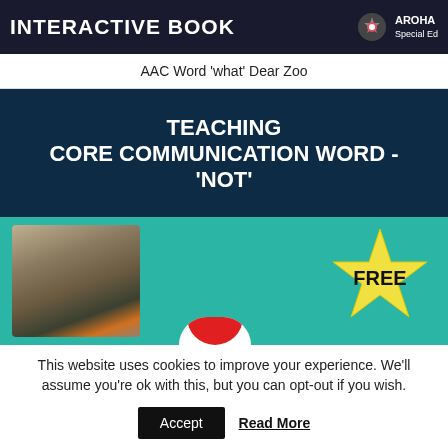INTERACTIVE BOOK — AROHA Special Ed
AAC Word 'what' Dear Zoo
[Figure (infographic): Dark navy banner with bold white text reading TEACHING CORE COMMUNICATION WORD - 'NOT', below which is a teal section showing a cat photo on the left and a yellow star badge with FREE on the right, plus a partial red circle at the bottom center.]
This website uses cookies to improve your experience. We'll assume you're ok with this, but you can opt-out if you wish.
Accept   Read More